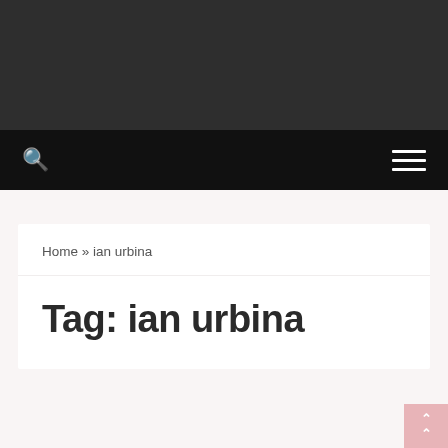[Figure (other): Dark gray header banner at top of page]
Search | Menu navigation bar
Home » ian urbina
Tag: ian urbina